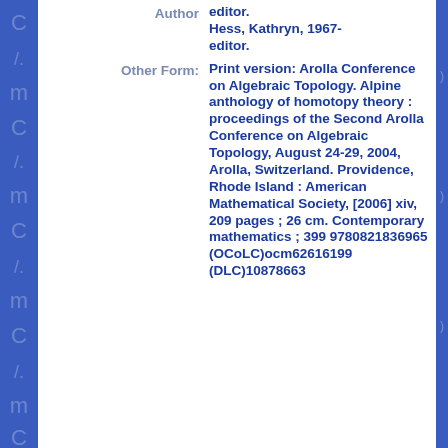Author: editor. Hess, Kathryn, 1967- editor.
Other Form: Print version: Arolla Conference on Algebraic Topology. Alpine anthology of homotopy theory : proceedings of the Second Arolla Conference on Algebraic Topology, August 24-29, 2004, Arolla, Switzerland. Providence, Rhode Island : American Mathematical Society, [2006] xiv, 209 pages ; 26 cm. Contemporary mathematics ; 399 9780821836965 (OCoLC)ocm62616199 (DLC)10878663